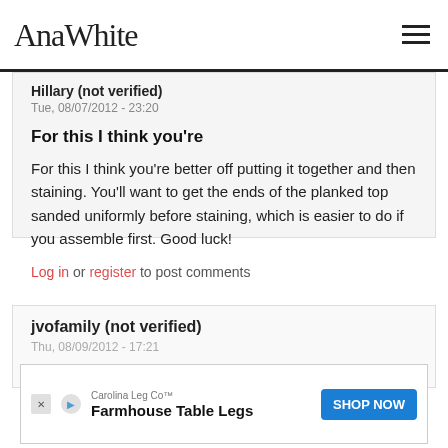Ana White
Hillary (not verified)
Tue, 08/07/2012 - 23:20
For this I think you're
For this I think you're better off putting it together and then staining. You'll want to get the ends of the planked top sanded uniformly before staining, which is easier to do if you assemble first. Good luck!
Log in or register to post comments
jvofamily (not verified)
[Figure (other): Advertisement banner for Carolina Leg Co featuring Farmhouse Table Legs with a blue SHOP NOW button]